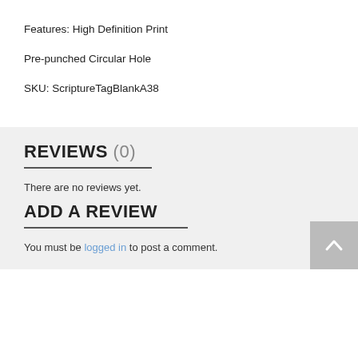Features: High Definition Print
Pre-punched Circular Hole
SKU: ScriptureTagBlankA38
REVIEWS (0)
There are no reviews yet.
ADD A REVIEW
You must be logged in to post a comment.